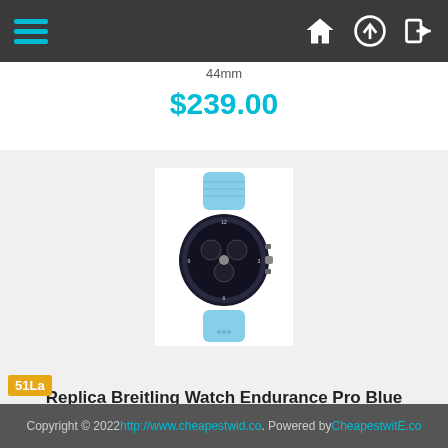Navigation bar with hamburger menu and icons
44mm
$239.00
[Figure (photo): Replica Breitling watch with blue rubber strap and dark chronograph face]
Replica Breitling Watch Endurance Pro Blue X82310281B1S1 44mm
$240.00
Copyright © 2022 http://www.cheapestwid.co. Powered by CheapestwitE.co